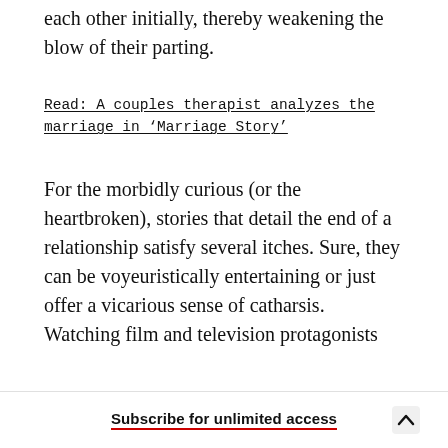each other initially, thereby weakening the blow of their parting.
Read: A couples therapist analyzes the marriage in ‘Marriage Story’
For the morbidly curious (or the heartbroken), stories that detail the end of a relationship satisfy several itches. Sure, they can be voyeuristically entertaining or just offer a vicarious sense of catharsis. Watching film and television protagonists
Subscribe for unlimited access